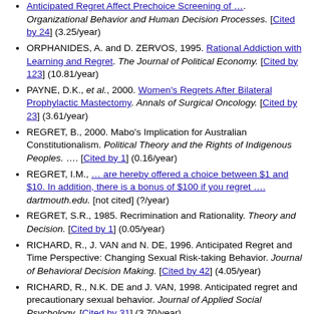Anticipated Regret Affect Prechoice Screening of …. Organizational Behavior and Human Decision Processes. [Cited by 24] (3.25/year)
ORPHANIDES, A. and D. ZERVOS, 1995. Rational Addiction with Learning and Regret. The Journal of Political Economy. [Cited by 123] (10.81/year)
PAYNE, D.K., et al., 2000. Women's Regrets After Bilateral Prophylactic Mastectomy. Annals of Surgical Oncology. [Cited by 23] (3.61/year)
REGRET, B., 2000. Mabo's Implication for Australian Constitutionalism. Political Theory and the Rights of Indigenous Peoples. …. [Cited by 1] (0.16/year)
REGRET, I.M., … are hereby offered a choice between $1 and $10. In addition, there is a bonus of $100 if you regret …. dartmouth.edu. [not cited] (?/year)
REGRET, S.R., 1985. Recrimination and Rationality. Theory and Decision. [Cited by 1] (0.05/year)
RICHARD, R., J. VAN and N. DE, 1996. Anticipated Regret and Time Perspective: Changing Sexual Risk-taking Behavior. Journal of Behavioral Decision Making. [Cited by 42] (4.05/year)
RICHARD, R., N.K. DE and J. VAN, 1998. Anticipated regret and precautionary sexual behavior. Journal of Applied Social Psychology. [Cited by 31] (3.70/year)
RITOV, I. and J. BARON, 1995. Outcome knowledge,